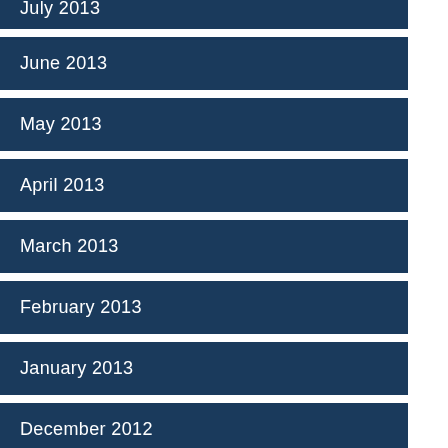July 2013
June 2013
May 2013
April 2013
March 2013
February 2013
January 2013
December 2012
November 2012